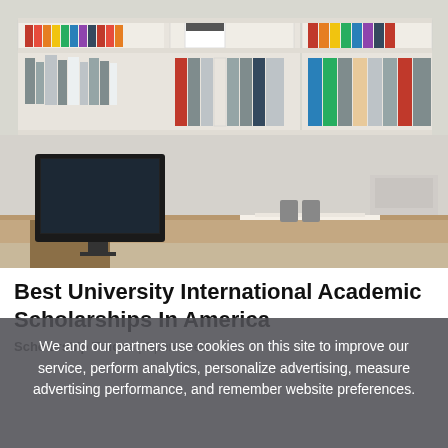[Figure (photo): A woman with long dark hair wearing a dark blue top leans over a desk in an office environment. Behind her are white shelving units filled with binders, folders, and books. A computer monitor and other office items are on the desk.]
Best University International Academic Scholarships In America
Scholarship Trucos | Sponsored
We and our partners use cookies on this site to improve our service, perform analytics, personalize advertising, measure advertising performance, and remember website preferences.